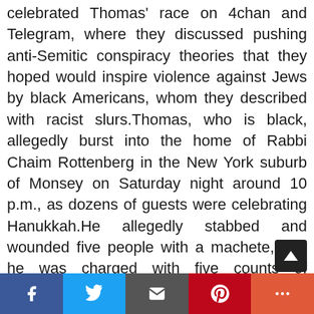celebrated Thomas' race on 4chan and Telegram, where they discussed pushing anti-Semitic conspiracy theories that they hoped would inspire violence against Jews by black Americans, whom they described with racist slurs.Thomas, who is black, allegedly burst into the home of Rabbi Chaim Rottenberg in the New York suburb of Monsey on Saturday night around 10 p.m., as dozens of guests were celebrating Hanukkah.He allegedly stabbed and wounded five people with a machete, and he was charged with five counts of attempted murder and one count of first-degree burglary. All of the victims survived, but one is said to remain in critical condition with a skull fracture.Federal
Social share bar: Facebook, Twitter, Email, Pinterest, More